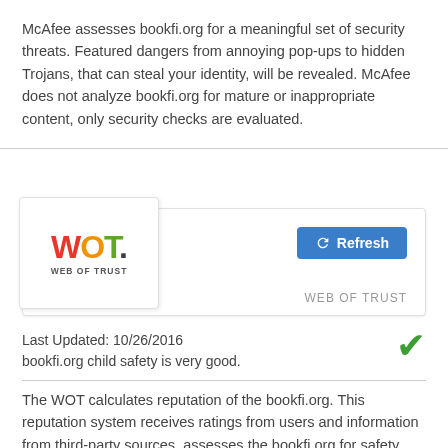McAfee assesses bookfi.org for a meaningful set of security threats. Featured dangers from annoying pop-ups to hidden Trojans, that can steal your identity, will be revealed. McAfee does not analyze bookfi.org for mature or inappropriate content, only security checks are evaluated.
[Figure (logo): WOT (Web of Trust) logo card with orange/red/green colored letters and a Refresh button in blue]
Last Updated: 10/26/2016
bookfi.org child safety is very good.
The WOT calculates reputation of the bookfi.org. This reputation system receives ratings from users and information from third-party sources, assesses the bookfi.org for safety features and confirms, whether